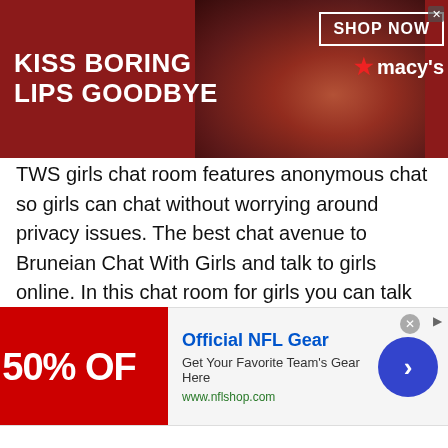[Figure (screenshot): Macy's advertisement banner with red background showing 'KISS BORING LIPS GOODBYE' text, a woman's face with red lips, 'SHOP NOW' button, and Macy's star logo with close button]
TWS girls chat room features anonymous chat so girls can chat without worrying around privacy issues. The best chat avenue to Bruneian Chat With Girls and talk to girls online. In this chat room for girls you can talk to female strangers online and engage in online chatting with girls along with other chat related activities. Talking to a girl online can be difficult but you can always learn how to talk to girls, right? To chat with random girls confidently you can read more about it on our blog: How to talk to girls online.
[Figure (screenshot): Official NFL Gear advertisement with red box showing '50% OFF', NFL gear info, www.nflshop.com URL, and blue navigation arrow button]